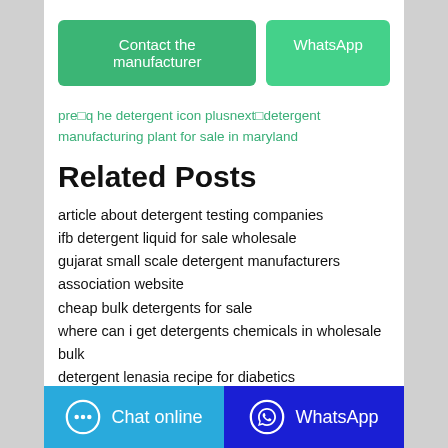[Figure (other): Two buttons: 'Contact the manufacturer' (green) and 'WhatsApp' (light green)]
pre□q he detergent icon plusnext□detergent manufacturing plant for sale in maryland
Related Posts
article about detergent testing companies
ifb detergent liquid for sale wholesale
gujarat small scale detergent manufacturers association website
cheap bulk detergents for sale
where can i get detergents chemicals in wholesale bulk
detergent lenasia recipe for diabetics
[Figure (other): Bottom bar with 'Chat online' button (blue) and 'WhatsApp' button (dark blue)]